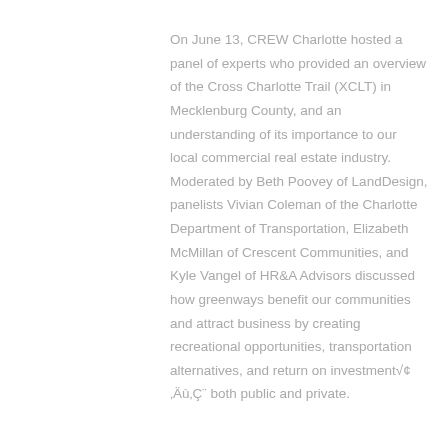On June 13, CREW Charlotte hosted a panel of experts who provided an overview of the Cross Charlotte Trail (XCLT) in Mecklenburg County, and an understanding of its importance to our local commercial real estate industry. Moderated by Beth Poovey of LandDesign, panelists Vivian Coleman of the Charlotte Department of Transportation, Elizabeth McMillan of Crescent Communities, and Kyle Vangel of HR&A Advisors discussed how greenways benefit our communities and attract business by creating recreational opportunities, transportation alternatives, and return on investment√¢‚Äù‚Ç¨ both public and private.